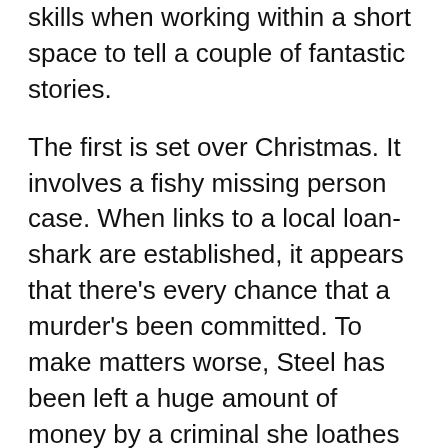skills when working within a short space to tell a couple of fantastic stories.
The first is set over Christmas. It involves a fishy missing person case. When links to a local loan-shark are established, it appears that there's every chance that a murder's been committed. To make matters worse, Steel has been left a huge amount of money by a criminal she loathes on the condition that she swallows her pride and delivers a glowing eulogy at the funeral service. It's moody, dark and wickedly funny. It's also attention-grabbing as an investigation.
The second deals with a gathering of criminal minds on the Island of Jura. Some of the criminals are even supposed to be dead. DI Steel has happened upon them while over there with her girlfriend and Steel's keen to keep the surveillance a secret from her partner to avoid trouble. To help her she calls upon Logan McRae and he's anything but happy to arrive